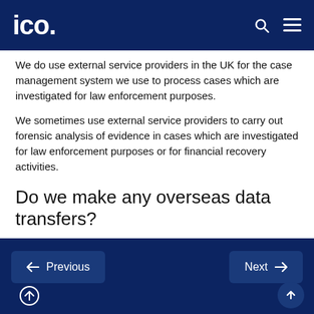ico.
We do use external service providers in the UK for the case management system we use to process cases which are investigated for law enforcement purposes.
We sometimes use external service providers to carry out forensic analysis of evidence in cases which are investigated for law enforcement purposes or for financial recovery activities.
Do we make any overseas data transfers?
Any transfers are made in line with our data protection obligations.
← Previous    Next →